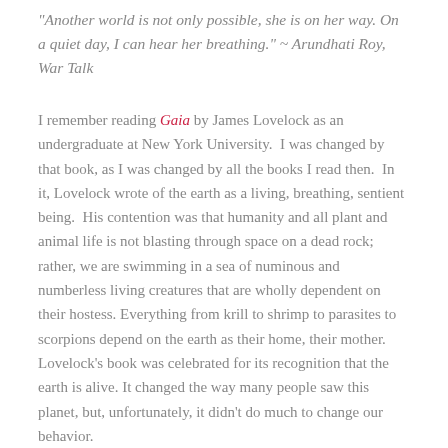"Another world is not only possible, she is on her way. On a quiet day, I can hear her breathing." ~ Arundhati Roy, War Talk
I remember reading Gaia by James Lovelock as an undergraduate at New York University.  I was changed by that book, as I was changed by all the books I read then.  In it, Lovelock wrote of the earth as a living, breathing, sentient being.  His contention was that humanity and all plant and animal life is not blasting through space on a dead rock; rather, we are swimming in a sea of numinous and numberless living creatures that are wholly dependent on their hostess. Everything from krill to shrimp to parasites to scorpions depend on the earth as their home, their mother. Lovelock's book was celebrated for its recognition that the earth is alive. It changed the way many people saw this planet, but, unfortunately, it didn't do much to change our behavior.